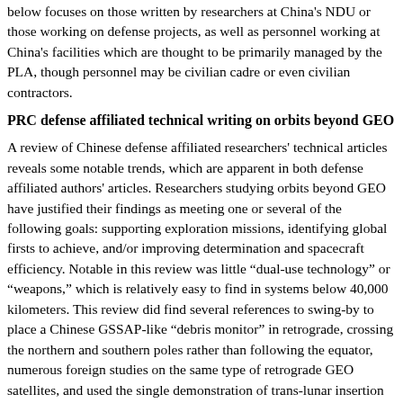below focuses on those written by researchers at China's NDU or those working on defense projects, as well as personnel working at China's facilities which are thought to be primarily managed by the PLA, though personnel may be civilian cadre or even civilian contractors.
PRC defense affiliated technical writing on orbits beyond GEO
A review of Chinese defense affiliated researchers' technical articles reveals some notable trends, which are apparent in both defense affiliated authors' articles. Researchers studying orbits beyond GEO have justified their findings as meeting one or several of the following goals: supporting exploration missions, identifying global firsts to achieve, and/or improving determination and spacecraft efficiency. Notable in this review was little "dual-use technology" or "weapons," which is relatively easy to find in systems below 40,000 kilometers. This review did find several references to swing-by to place a Chinese GSSAP-like "debris monitor" in retrograde, crossing the northern and southern poles rather than following the equator, numerous foreign studies on the same type of retrograde GEO satellites, and used the single demonstration of trans-lunar insertion into GEO, completed by Corporation in 1998 for AsiaSat 3, as a reference case.[19,20] ,
Other notable findings are that the only difference between the Mandarin language articles was the level of detail; there were no differences...